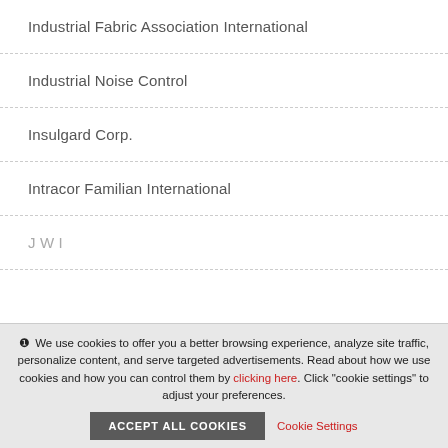Industrial Fabric Association International
Industrial Noise Control
Insulgard Corp.
Intracor Familian International
J W I
We use cookies to offer you a better browsing experience, analyze site traffic, personalize content, and serve targeted advertisements. Read about how we use cookies and how you can control them by clicking here. Click "cookie settings" to adjust your preferences.
ACCEPT ALL COOKIES
Cookie Settings